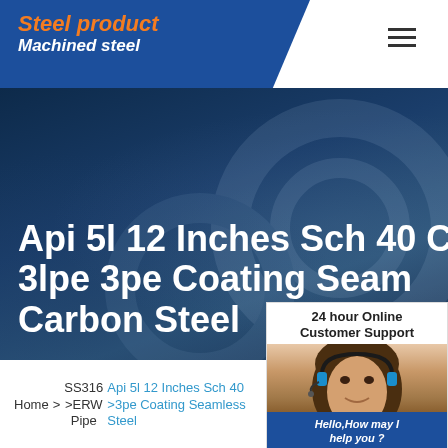Steel product Machined steel
Api 5l 12 Inches Sch 40 Cs 3lpe 3pe Coating Seamless Carbon Steel
[Figure (photo): Customer support widget with photo of woman with headset, '24 hour Online Customer Support', 'Hello,How may I help you ?', and 'Chat Now' button]
Home > SS316 >ERW Pipe > Api 5l 12 Inches Sch 40 >3pe Coating Seamless Steel